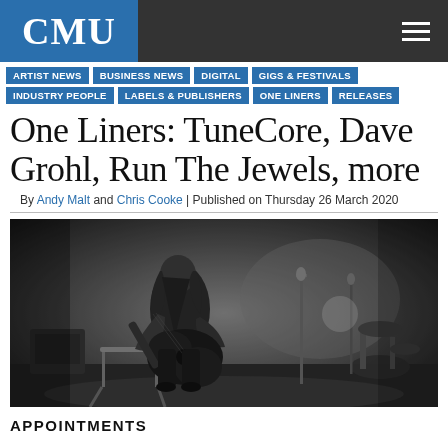CMU
ARTIST NEWS | BUSINESS NEWS | DIGITAL | GIGS & FESTIVALS | INDUSTRY PEOPLE | LABELS & PUBLISHERS | ONE LINERS | RELEASES
One Liners: TuneCore, Dave Grohl, Run The Jewels, more
By Andy Malt and Chris Cooke | Published on Thursday 26 March 2020
[Figure (photo): Black and white photo of a person with long hair sitting on a chair playing an electric guitar in a recording studio or rehearsal space, with microphone stands and drum kit visible in the background]
APPOINTMENTS